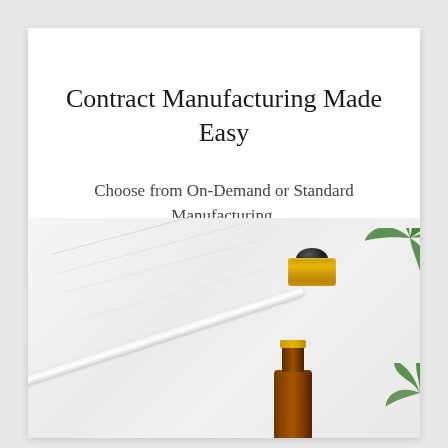Contract Manufacturing Made Easy
Choose from On-Demand or Standard Manufacturing.
[Figure (photo): A glass dropper pipette with gold and black cap lying on a white marble surface, next to an amber glass bottle and green cannabis/hemp leaves in the corner.]